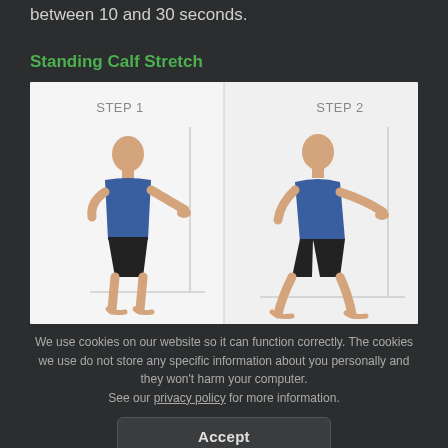between 10 and 30 seconds.
Standing Calf Stretch
[Figure (illustration): Two-step illustration of Standing Calf Stretch. Step 1 shows a person standing upright with hands on wall. Step 2 shows the person in a lunge/calf stretch position with hands on wall.]
We use cookies on our website so it can function correctly. The cookies we use do not store any specific information about you personally and they won't harm your computer. See our privacy policy for more information.
Accept